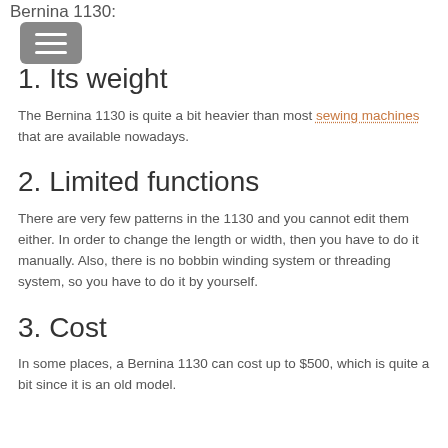Bernina 1130:
1. Its weight
The Bernina 1130 is quite a bit heavier than most sewing machines that are available nowadays.
2. Limited functions
There are very few patterns in the 1130 and you cannot edit them either. In order to change the length or width, then you have to do it manually. Also, there is no bobbin winding system or threading system, so you have to do it by yourself.
3. Cost
In some places, a Bernina 1130 can cost up to $500, which is quite a bit since it is an old model.